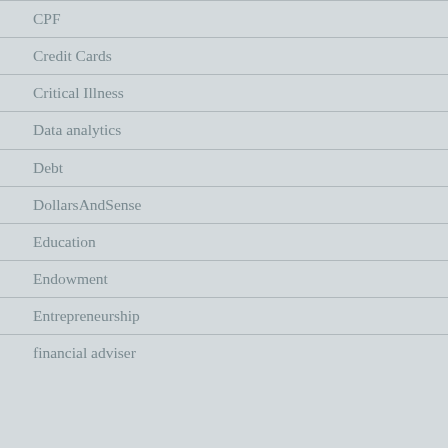CPF
Credit Cards
Critical Illness
Data analytics
Debt
DollarsAndSense
Education
Endowment
Entrepreneurship
financial adviser